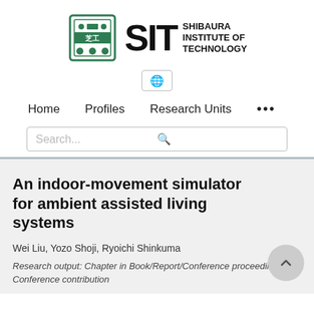[Figure (logo): Shibaura Institute of Technology (SIT) logo with emblem and text]
[Figure (other): Language selector icon (globe/language button)]
Home   Profiles   Research Units   ...
Search...
An indoor-movement simulator for ambient assisted living systems
Wei Liu, Yozo Shoji, Ryoichi Shinkuma
Research output: Chapter in Book/Report/Conference proceeding › Conference contribution